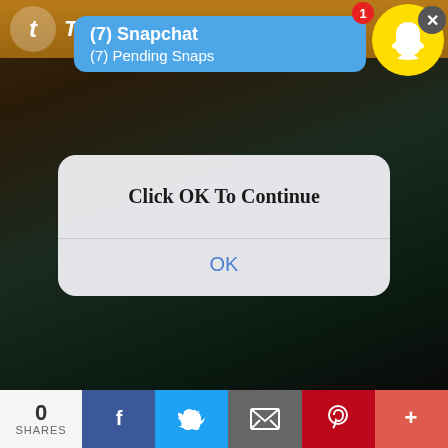[Figure (screenshot): Dark cinematic background scene showing fantasy characters, with Tumblr app header bar showing the Tumblr logo and text]
[Figure (screenshot): Snapchat notification bubble showing '(7) Snapchat' and '(7) Pending Snaps' in blue, with Snapchat ghost icon on yellow circle in top right, red badge showing '1', and gray X close button]
[Figure (screenshot): iOS-style dialog box with rounded corners showing 'Click OK To Continue' text in bold and 'OK' button below a divider]
[Figure (screenshot): Bottom social sharing bar with 0 SHARES count, Facebook (blue), Twitter (light blue), Email (gray), Pinterest (red), and More (orange-red) buttons]